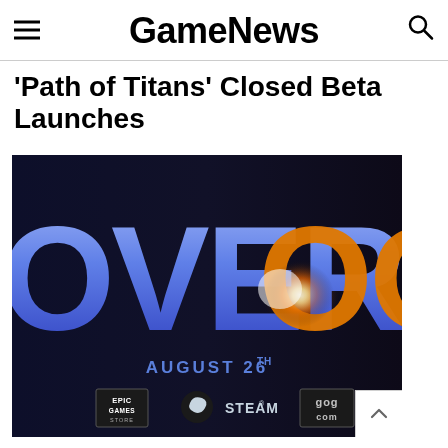GameNews
'Path of Titans' Closed Beta Launches
[Figure (screenshot): Game promotional image showing the word 'OVERLOOK' in large stylized letters with blue-to-purple gradient on the left and orange glowing circular logo on the right, against a dark background. Below the logo text reads 'AUGUST 26TH' with Epic Games Store, Steam, and GOG.com platform logos.]